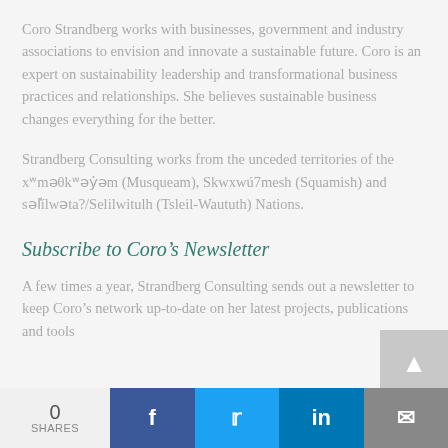Coro Strandberg works with businesses, government and industry associations to envision and innovate a sustainable future. Coro is an expert on sustainability leadership and transformational business practices and relationships. She believes sustainable business changes everything for the better.
Strandberg Consulting works from the unceded territories of the xʷməθkʷəy̓əm (Musqueam), Skwxwú7mesh (Squamish) and səl̓ílwəta?/Selilwitulh (Tsleil-Waututh) Nations.
Subscribe to Coro's Newsletter
A few times a year, Strandberg Consulting sends out a newsletter to keep Coro's network up-to-date on her latest projects, publications and tools